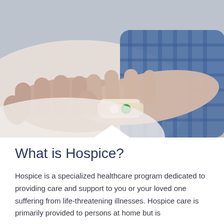[Figure (photo): A close-up photograph of a patient's hand resting on a pillow with an IV port/catheter attached, while another person's hand (in a blue checkered sleeve) gently rests on top, showing compassionate care in a medical/hospice setting.]
What is Hospice?
Hospice is a specialized healthcare program dedicated to providing care and support to you or your loved one suffering from life-threatening illnesses. Hospice care is primarily provided to persons at home but is